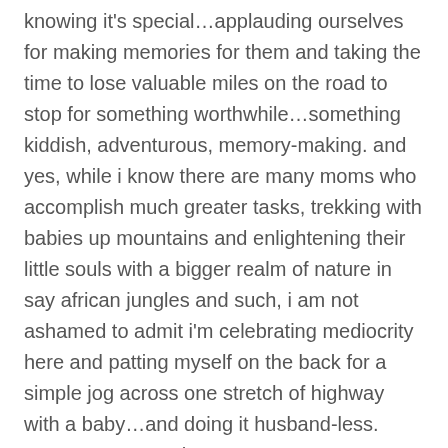knowing it's special…applauding ourselves for making memories for them and taking the time to lose valuable miles on the road to stop for something worthwhile…something kiddish, adventurous, memory-making. and yes, while i know there are many moms who accomplish much greater tasks, trekking with babies up mountains and enlightening their little souls with a bigger realm of nature in say african jungles and such, i am not ashamed to admit i'm celebrating mediocrity here and patting myself on the back for a simple jog across one stretch of highway with a baby…and doing it husband-less. gotta start somewhere.